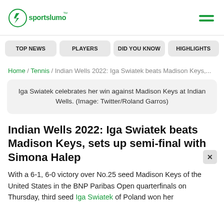sportslumo logo and navigation hamburger
TOP NEWS
PLAYERS
DID YOU KNOW
HIGHLIGHTS
Home / Tennis / Indian Wells 2022: Iga Swiatek beats Madison Keys,...
Iga Swiatek celebrates her win against Madison Keys at Indian Wells. (Image: Twitter/Roland Garros)
Indian Wells 2022: Iga Swiatek beats Madison Keys, sets up semi-final with Simona Halep
With a 6-1, 6-0 victory over No.25 seed Madison Keys of the United States in the BNP Paribas Open quarterfinals on Thursday, third seed Iga Swiatek of Poland won her